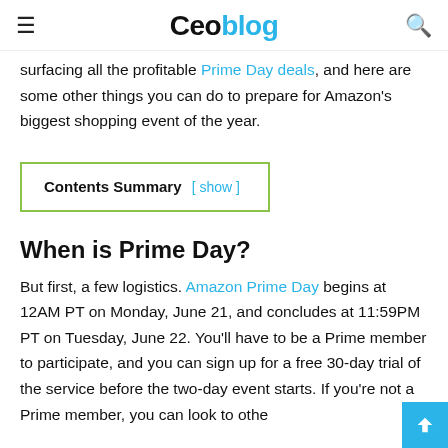Ceoblog
surfacing all the profitable Prime Day deals, and here are some other things you can do to prepare for Amazon's biggest shopping event of the year.
Contents Summary [ show ]
When is Prime Day?
But first, a few logistics. Amazon Prime Day begins at 12AM PT on Monday, June 21, and concludes at 11:59PM PT on Tuesday, June 22. You'll have to be a Prime member to participate, and you can sign up for a free 30-day trial of the service before the two-day event starts. If you're not a Prime member, you can look to othe